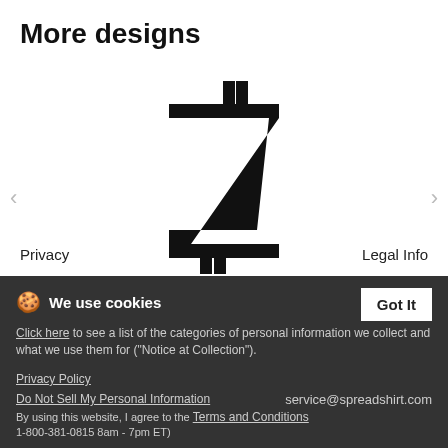More designs
[Figure (illustration): A stylized letter Z with two horizontal crossbars near the top and bottom, resembling a Zcash or cryptocurrency symbol, rendered in bold black]
Big Z white
Privacy
Legal Info
Tracking ∨
🌐 United States ∨
Copyright Information
Terms & Conditions
Help
Shipping costs and shipping times
We use cookies
Click here to see a list of the categories of personal information we collect and what we use them for ("Notice at Collection").
Privacy Policy
Do Not Sell My Personal Information
service@spreadshirt.com
By using this website, I agree to the Terms and Conditions
1-800-381-0815 8am - 7pm ET)
Got It